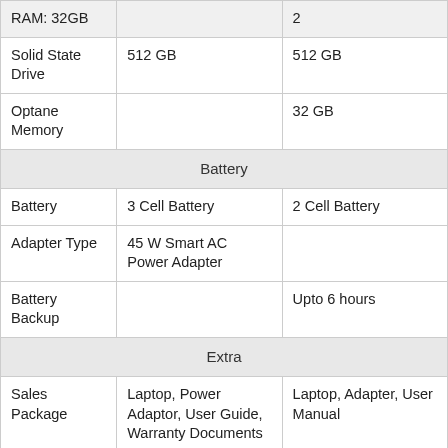|  |  |  |
| --- | --- | --- |
| RAM: 32GB |  | 2 |
| Solid State Drive | 512 GB | 512 GB |
| Optane Memory |  | 32 GB |
| Battery |  |  |
| Battery | 3 Cell Battery | 2 Cell Battery |
| Adapter Type | 45 W Smart AC Power Adapter |  |
| Battery Backup |  | Upto 6 hours |
| Extra |  |  |
| Sales Package | Laptop, Power Adaptor, User Guide, Warranty Documents | Laptop, Adapter, User Manual |
| Other Features | 41 Wh Li-ion battery, Support battery fast charge |  |